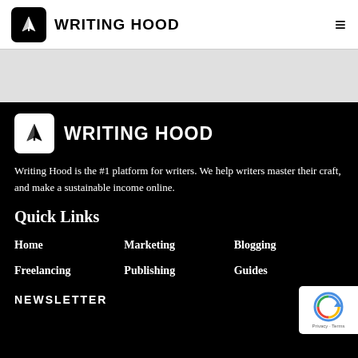WRITING HOOD
[Figure (logo): Writing Hood logo - pen nib icon in black square with WRITING HOOD text]
Writing Hood is the #1 platform for writers. We help writers master their craft, and make a sustainable income online.
Quick Links
Home
Marketing
Blogging
Freelancing
Publishing
Guides
NEWSLETTER